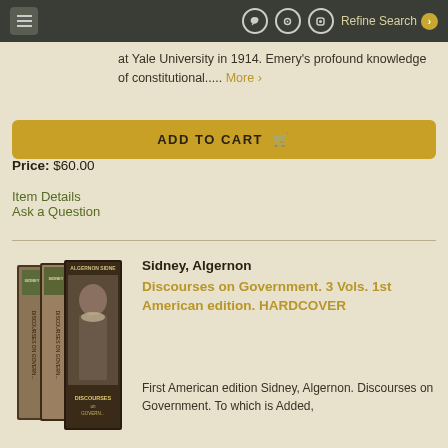Refine Search
at Yale University in 1914. Emery's profound knowledge of constitutional..... More
ADD TO CART
Price: $60.00
Item Details
Ask a Question
[Figure (photo): Stack of three hardcover books titled 'Discourses on Government' by Sidney, Algernon]
Sidney, Algernon
Discourses on Government. 3 Vols. 1st American edition. HARDCOVER
First American edition Sidney, Algernon. Discourses on Government. To which is Added,